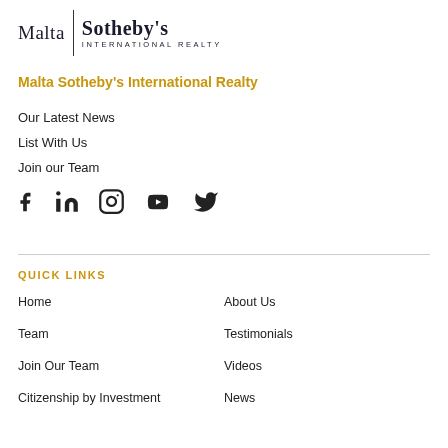[Figure (logo): Malta Sotheby's International Realty logo with vertical divider bar]
Malta Sotheby's International Realty
Our Latest News
List With Us
Join our Team
[Figure (illustration): Social media icons: Facebook, LinkedIn, Instagram, YouTube, Twitter]
QUICK LINKS
Home
About Us
Team
Testimonials
Join Our Team
Videos
Citizenship by Investment
News